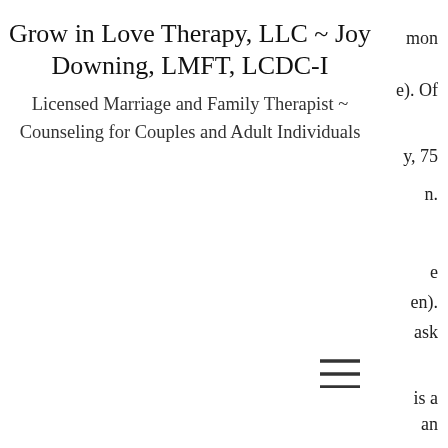Grow in Love Therapy, LLC ~ Joy Downing, LMFT, LCDC-I
Licensed Marriage and Family Therapist ~ Counseling for Couples and Adult Individuals
mon
e). Of
y, 75
n.
e
en).
ask
[Figure (other): Hamburger menu icon — three horizontal lines]
is a
an
both
Oral steroids vs alcohol liver, hgh vallarta
Since Clenbuterol is illegal in the USA, the UK and some other countries of the